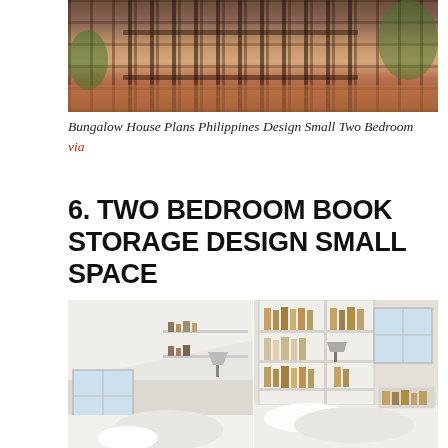[Figure (photo): Photo of a bungalow house exterior with ornamental iron gate and terracotta tile driveway, surrounded by green foliage]
Bungalow House Plans Philippines Design Small Two Bedroom via
6. TWO BEDROOM BOOK STORAGE DESIGN SMALL SPACE
[Figure (photo): Two-panel photo of a small white bedroom with built-in bookshelves filled with books, white bedding, slanted ceiling, and windows with natural light]